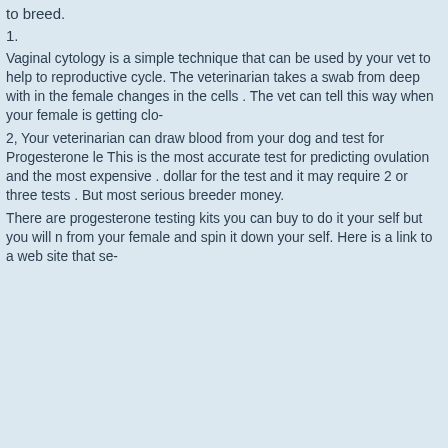to breed.
1.
Vaginal cytology is a simple technique that can be used by your vet to help to reproductive cycle.  The veterinarian takes a swab from deep with in the female changes in the cells . The vet can tell this way when your female is getting clo-
2,  Your veterinarian can draw blood from your dog and test for Progesterone le This is the most accurate test for predicting ovulation and the most expensive . dollar for the test and it may require 2 or three tests . But most serious breeder money.
There are progesterone testing kits you can buy to do it your self but you will n from your female and spin it down your self. Here is a link to a web site that se-